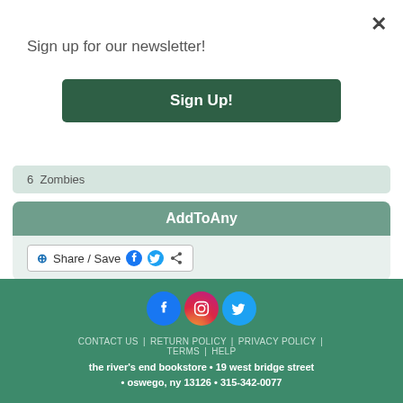×
Sign up for our newsletter!
Sign Up!
6  Zombies
AddToAny
+ Share / Save
[Figure (infographic): Social media icons: Facebook, Instagram, Twitter]
CONTACT US | RETURN POLICY | PRIVACY POLICY | TERMS | HELP
the river's end bookstore • 19 west bridge street • oswego, ny 13126 • 315-342-0077